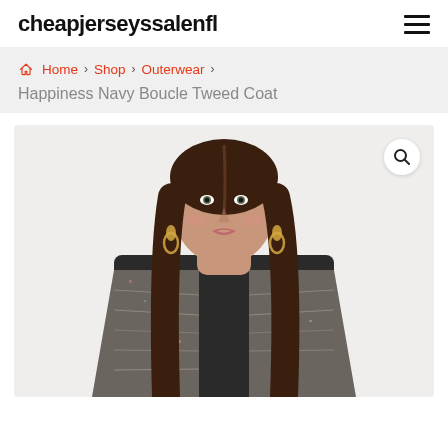cheapjerseyssalenfl
Home › Shop › Outerwear › Happiness Navy Boucle Tweed Coat
[Figure (photo): A female model wearing a multicolored boucle tweed coat over a black top, with long brown hair and gold hoop earrings, photographed against a light background. A search/zoom icon appears in the upper right of the image.]